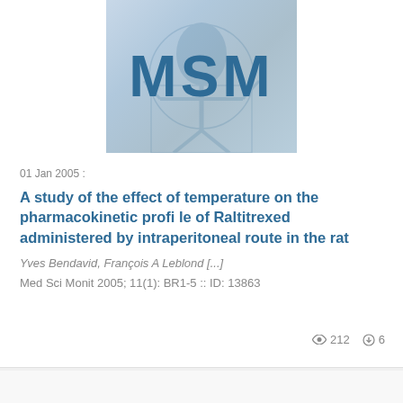[Figure (logo): MSM journal cover showing 'MSM' text over a faint Vitruvian man illustration, blue tones]
01 Jan 2005 :
A study of the effect of temperature on the pharmacokinetic profi le of Raltitrexed administered by intraperitoneal route in the rat
Yves Bendavid, François A Leblond [...]
Med Sci Monit 2005; 11(1): BR1-5 :: ID: 13863
212  6
[Figure (illustration): Partial journal cover visible at the bottom of the page]